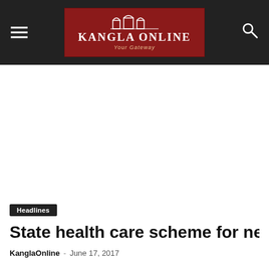Kangla Online – Your Gateway
[Figure (other): Advertisement / blank area below header]
Headlines
State health care scheme for needy in offing: B
KanglaOnline – June 17, 2017